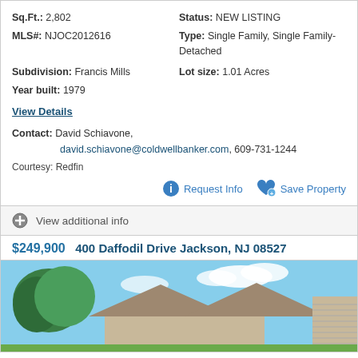Sq.Ft.: 2,802
Status: NEW LISTING
MLS#: NJOC2012616
Type: Single Family, Single Family-Detached
Subdivision: Francis Mills
Lot size: 1.01 Acres
Year built: 1979
View Details
Contact: David Schiavone, david.schiavone@coldwellbanker.com, 609-731-1244
Courtesy: Redfin
Request Info
Save Property
View additional info
$249,900  400 Daffodil Drive Jackson, NJ 08527
[Figure (photo): Exterior photo of a single-family home with brown roof and siding, trees visible in background, blue sky]